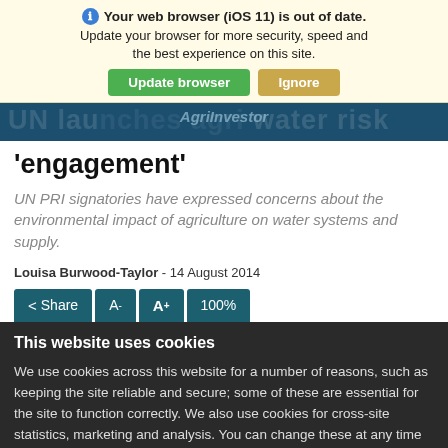Your web browser (iOS 11) is out of date. Update your browser for more security, speed and the best experience on this site.
Update browser | Ignore
UN launches agri water risk 'engagement'
UN PRI signatories have expressed concerns about the environmental impact of agriculture on water systems and supply.
Louisa Burwood-Taylor - 14 August 2014
Share  A-  A+  100%
This website uses cookies
We use cookies across this website for a number of reasons, such as keeping the site reliable and secure; some of these are essential for the site to function correctly. We also use cookies for cross-site statistics, marketing and analysis. You can change these at any time by clicking the settings below.